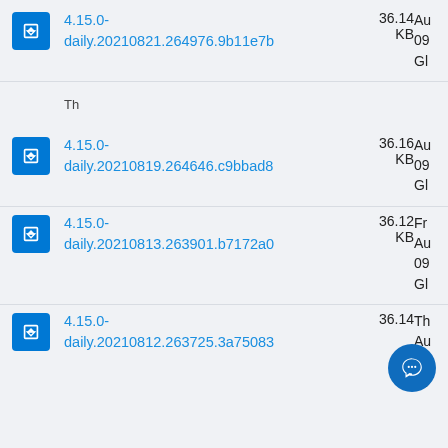4.15.0-daily.20210821.264976.9b11e7b | 36.14 KB | Au 09 Gl
4.15.0-daily.20210819.264646.c9bbad8 | 36.16 KB | Th Au 09 Gl
4.15.0-daily.20210813.263901.b7172a0 | 36.12 KB | Fr Au 09 Gl
4.15.0-daily.20210812.263725.3a75083 | 36.14 KB | Th Au 09 Gl